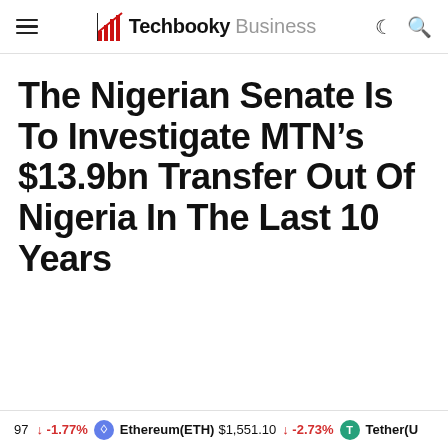Techbooky Business
The Nigerian Senate Is To Investigate MTN’s $13.9bn Transfer Out Of Nigeria In The Last 10 Years
97 ↓ -1.77% Ethereum(ETH) $1,551.10 ↓ -2.73% Tether(U...